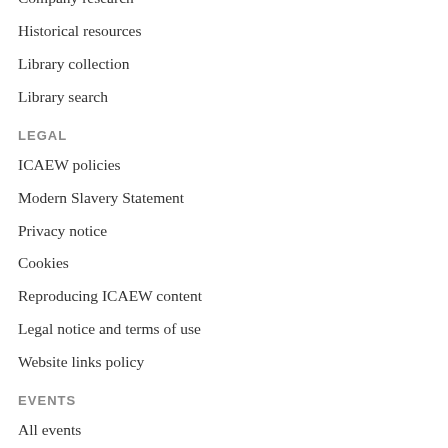Company research
Historical resources
Library collection
Library search
LEGAL
ICAEW policies
Modern Slavery Statement
Privacy notice
Cookies
Reproducing ICAEW content
Legal notice and terms of use
Website links policy
EVENTS
All events
CPD Courses | CPD Training Programmes
Webinars
On demand webinars